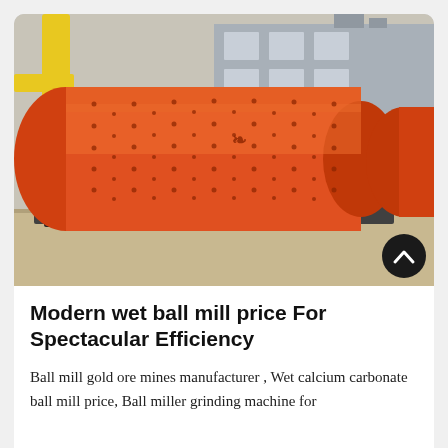[Figure (photo): Large orange cylindrical ball mill machine on a flatbed transport vehicle in an industrial yard, with a yellow crane structure and grey industrial building visible in the background. A scroll-up button (dark circle with chevron) is overlaid at the bottom right corner of the image.]
Modern wet ball mill price For Spectacular Efficiency
Ball mill gold ore mines manufacturer , Wet calcium carbonate ball mill price, Ball miller grinding machine for